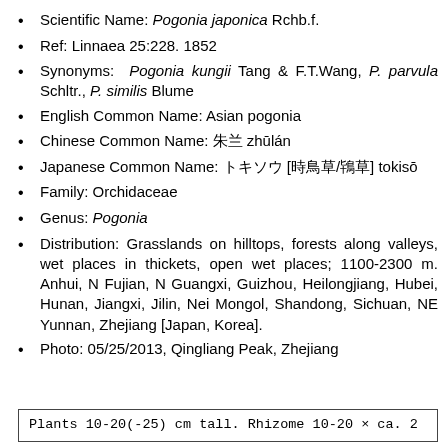Scientific Name: Pogonia japonica Rchb.f.
Ref: Linnaea 25:228. 1852
Synonyms: Pogonia kungii Tang & F.T.Wang, P. parvula Schltr., P. similis Blume
English Common Name: Asian pogonia
Chinese Common Name: 朱兰 zhūlán
Japanese Common Name: トキソウ [時鳥草/鴇草] tokisō
Family: Orchidaceae
Genus: Pogonia
Distribution: Grasslands on hilltops, forests along valleys, wet places in thickets, open wet places; 1100-2300 m. Anhui, N Fujian, N Guangxi, Guizhou, Heilongjiang, Hubei, Hunan, Jiangxi, Jilin, Nei Mongol, Shandong, Sichuan, NE Yunnan, Zhejiang [Japan, Korea].
Photo: 05/25/2013, Qingliang Peak, Zhejiang
Plants 10-20(-25) cm tall. Rhizome 10-20 × ca. 2